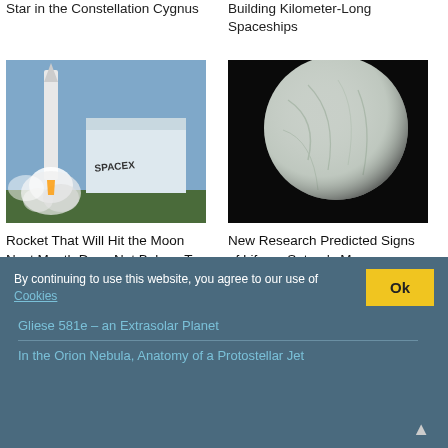Star in the Constellation Cygnus
Building Kilometer-Long Spaceships
[Figure (photo): SpaceX rocket launching with smoke and flames near a building with SPACEX written on it]
Rocket That Will Hit the Moon Next Month Does Not Belong To SpaceX
[Figure (photo): Saturn's moon Enceladus, showing a white icy surface against a black background]
New Research Predicted Signs of Life on Saturn's Moon Enceladus
Similar Post
By continuing to use this website, you agree to our use of Cookies
Gliese 581e – an Extrasolar Planet
In the Orion Nebula, Anatomy of a Protostellar Jet